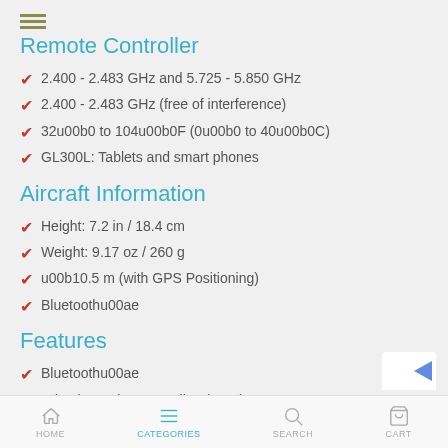Remote Controller
2.400 - 2.483 GHz and 5.725 - 5.850 GHz
2.400 - 2.483 GHz (free of interference)
32u00b0 to 104u00b0F (0u00b0 to 40u00b0C)
GL300L: Tablets and smart phones
Aircraft Information
Height: 7.2 in / 18.4 cm
Weight: 9.17 oz / 260 g
u00b10.5 m (with GPS Positioning)
Bluetoothu00ae
Features
Bluetoothu00ae
Adaptive Noise Canceling (ANC)
ANC on/off function
HOME  CATEGORIES  SEARCH  CART